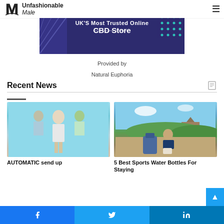Unfashionable Male
[Figure (illustration): Advertisement banner for UK's Most Trusted Online CBD Store with dark purple/indigo background and decorative geometric elements]
Provided by
Natural Euphoria
Recent News
[Figure (photo): Fashion photo showing three models, one in foreground in white outfit against teal/blue background]
[Figure (photo): Man with blue backpack sitting on a rock overlook with scenic landscape view of Sigiriya Sri Lanka]
AUTOMATIC send up
5 Best Sports Water Bottles For Staying